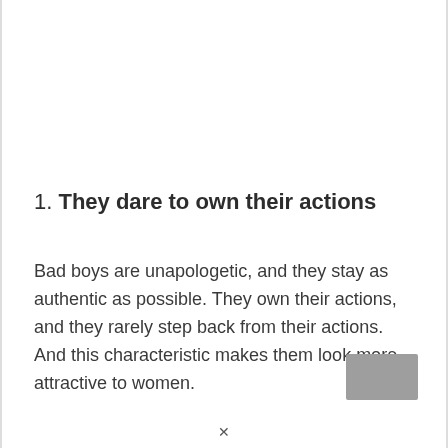1. They dare to own their actions
Bad boys are unapologetic, and they stay as authentic as possible. They own their actions, and they rarely step back from their actions. And this characteristic makes them look more attractive to women.